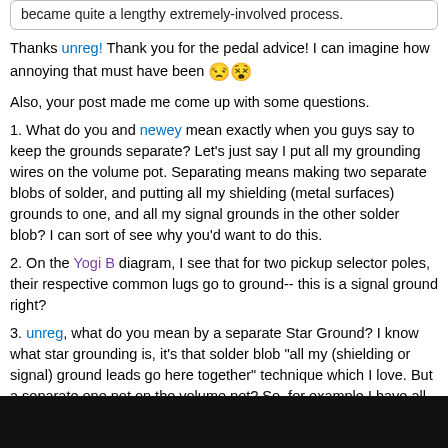became quite a lengthy extremely-involved process.
Thanks unreg! Thank you for the pedal advice! I can imagine how annoying that must have been 😒😵
Also, your post made me come up with some questions.
1. What do you and newey mean exactly when you guys say to keep the grounds separate? Let's just say I put all my grounding wires on the volume pot. Separating means making two separate blobs of solder, and putting all my shielding (metal surfaces) grounds to one, and all my signal grounds in the other solder blob? I can sort of see why you'd want to do this.
2. On the Yogi B diagram, I see that for two pickup selector poles, their respective common lugs go to ground-- this is a signal ground right?
3. unreg, what do you mean by a separate Star Ground? I know what star grounding is, it's that solder blob "all my (shielding or signal) ground leads go here together" technique which I love. But a separate one not on the volume pot? So, for example I have all my shielding grounds star grounded to the volume pot, and the signal grounds star grounded to somewhere else? Where exactly? I know it could be basically anywhere. The tone pot? The control plate? The shielding?